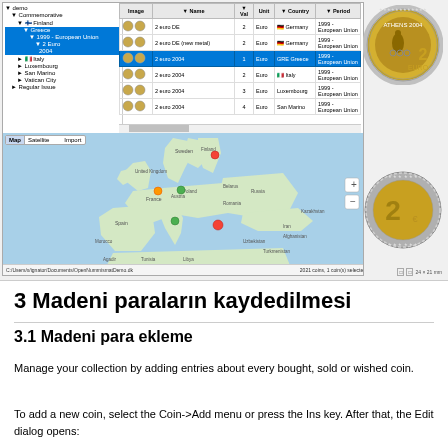[Figure (screenshot): Application screenshot showing a coin collection database with a tree panel on the left listing countries (Finland, Greece, Italy, Luxembourg, San Marino, Vatican City, Regular Issue) and a data table on the right with columns for Image, Name, Val, Unit, Country, Period showing 2 euro commemorative coins from 2004 from Germany, Greece, Italy, Luxembourg, San Marino. A Google Maps view is shown below the table with pins for coin locations across Europe. Two 2-euro coin images are shown on the right side.]
3 Madeni paraların kaydedilmesi
3.1 Madeni para ekleme
Manage your collection by adding entries about every bought, sold or wished coin.
To add a new coin, select the Coin->Add menu or press the Ins key. After that, the Edit dialog opens: